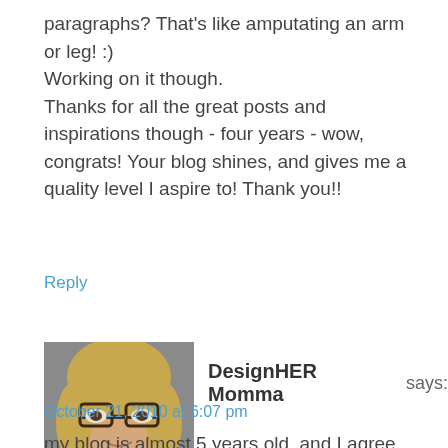paragraphs? That's like amputating an arm or leg! :) Working on it though.
Thanks for all the great posts and inspirations though - four years - wow, congrats! Your blog shines, and gives me a quality level I aspire to! Thank you!!
Reply
[Figure (photo): Profile photo of a blonde woman with glasses]
DesignHER Momma says:
October 21, 2010 at 6:07 pm
my blog is almost 5 years old, and I agree with everything you've written. Also, everything you've written I have to remind myself daily about. It's so easy to agree to stuff, throw up bad post, ect.